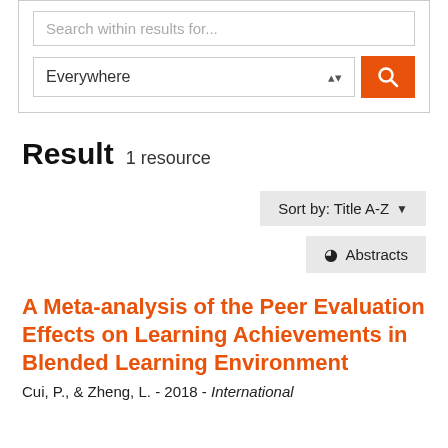[Figure (screenshot): Search interface with 'Search within results for...' text field and an 'Everywhere' dropdown with an orange search button]
Result  1 resource
Sort by: Title A-Z
Abstracts
A Meta-analysis of the Peer Evaluation Effects on Learning Achievements in Blended Learning Environment
Cui, P., & Zheng, L. - 2018 - International